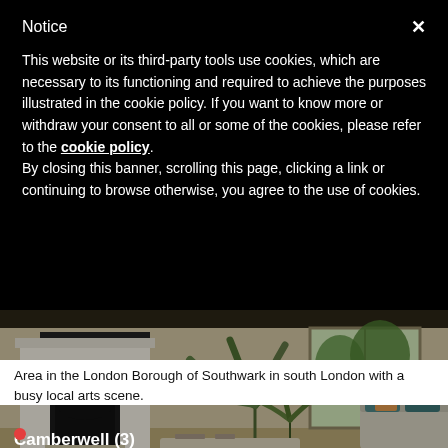Notice
This website or its third-party tools use cookies, which are necessary to its functioning and required to achieve the purposes illustrated in the cookie policy. If you want to know more or withdraw your consent to all or some of the cookies, please refer to the cookie policy.
By closing this banner, scrolling this page, clicking a link or continuing to browse otherwise, you agree to the use of cookies.
[Figure (photo): Interior photo of a living room with a white marble fireplace, large tropical houseplants, a bright window, and a sofa with teal cushions. Overlay text reads 'Camberwell (3)'.]
Area in the London Borough of Southwark in south London with a busy local arts scene.